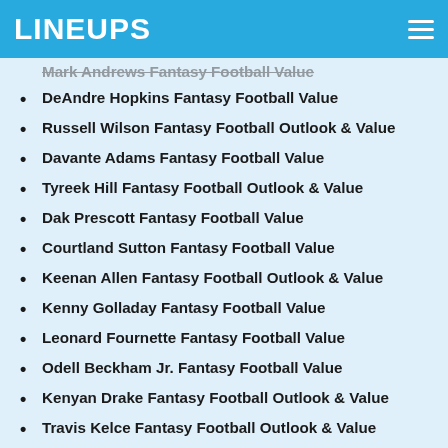LINEUPS
Mark Andrews Fantasy Football Value (partial, cut off)
DeAndre Hopkins Fantasy Football Value
Russell Wilson Fantasy Football Outlook & Value
Davante Adams Fantasy Football Value
Tyreek Hill Fantasy Football Outlook & Value
Dak Prescott Fantasy Football Value
Courtland Sutton Fantasy Football Value
Keenan Allen Fantasy Football Outlook & Value
Kenny Golladay Fantasy Football Value
Leonard Fournette Fantasy Football Value
Odell Beckham Jr. Fantasy Football Value
Kenyan Drake Fantasy Football Outlook & Value
Travis Kelce Fantasy Football Outlook & Value
Stefon Diggs Fantasy Football Outlook & Value
Le'Veon Bell Fantasy Football Outlook & Value
Todd Gurley Fantasy Football Outlook & Value